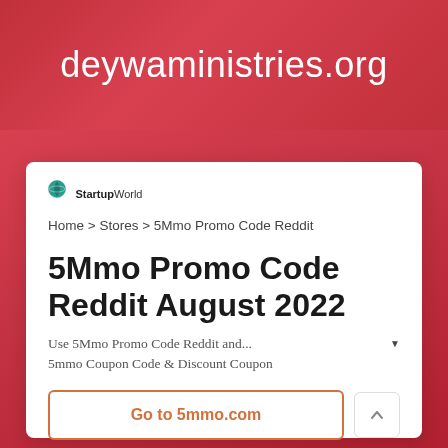deywaministries.org
[Figure (logo): StartupWorld logo with globe icon]
Home > Stores > 5Mmo Promo Code Reddit
5Mmo Promo Code Reddit August 2022
Use 5Mmo Promo Code Reddit and... 5mmo Coupon Code & Discount Coupon
Go to 5mmo.com